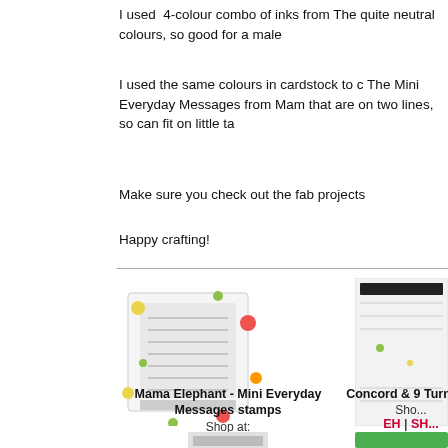I used  4-colour combo of inks from The quite neutral colours, so good for a male
I used the same colours in cardstock to c The Mini Everyday Messages from Mam that are on two lines, so can fit on little ta
Make sure you check out the fab projects
Happy crafting!
[Figure (photo): Product photo of Mama Elephant Mini Everyday Messages stamps sheet with colorful dots around it]
Mama Elephant - Mini Everyday Messages stamps
Shop at:
EH | SHC
[Figure (photo): Partial product photo of Concord & 9 Turna... stamps]
Concord & 9 Turna...
Sho...
EH | SH...
[Figure (photo): Small logo/icon bar]
[Figure (photo): Partial image at bottom right showing green product]